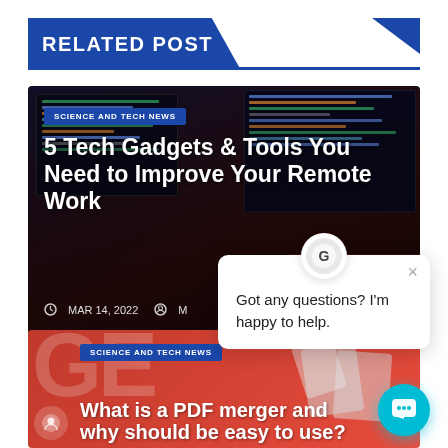RELATED POST
[Figure (photo): Tech article card showing multiple computer monitors with code, titled '5 Tech Gadgets & Tools You Need to Improve Your Remote Work', dated MAR 14, 2022, with SCIENCE AND TECH NEWS badge]
5 Tech Gadgets & Tools You Need to Improve Your Remote Work
MAR 14, 2022
[Figure (screenshot): Chat popup dialog with icon showing 'Got any questions? I'm happy to help.' with close X button]
[Figure (photo): Second article card with red background and PDF document graphics, SCIENCE AND TECH NEWS badge, titled 'What is a PDF merger and why should be easy to use?']
What is a PDF merger and why should be easy to use?